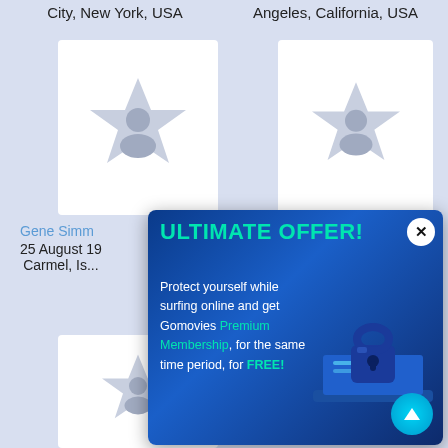City, New York, USA
Angeles, California, USA
[Figure (illustration): Profile card placeholder with star and person silhouette icon (top left)]
[Figure (illustration): Profile card placeholder with star and person silhouette icon (top right)]
Gene Simm...
25 August 19...
Carmel, Is...
[Figure (illustration): Profile card placeholder with star and person silhouette icon (bottom left)]
[Figure (infographic): Popup advertisement: ULTIMATE OFFER! Protect yourself while surfing online and get Gomovies Premium Membership, for the same time period, for FREE! with lock/laptop graphic and close button.]